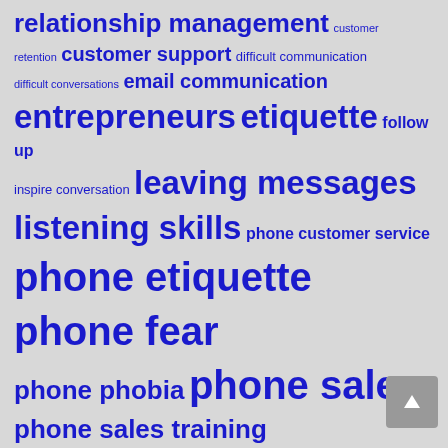relationship management customer retention customer support difficult communication difficult conversations email communication entrepreneurs etiquette follow up inspire conversation leaving messages listening skills phone customer service phone etiquette phone fear phone phobia phone sales phone sales training prospecting sales calls sales process sales skills sales strategy sales success sales training selling by phone small business storyfinding texting voicemail